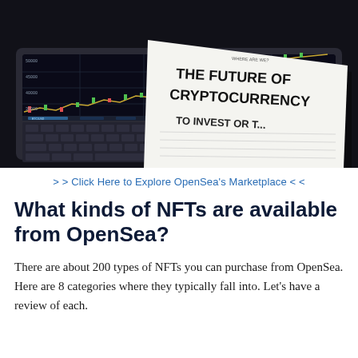[Figure (photo): A laptop with a cryptocurrency trading chart on screen, and a document titled 'THE FUTURE OF CRYPTOCURRENCY' and 'TO INVEST OR...' placed in front of the keyboard on a dark background.]
> > Click Here to Explore OpenSea's Marketplace < <
What kinds of NFTs are available from OpenSea?
There are about 200 types of NFTs you can purchase from OpenSea. Here are 8 categories where they typically fall into. Let's have a review of each.